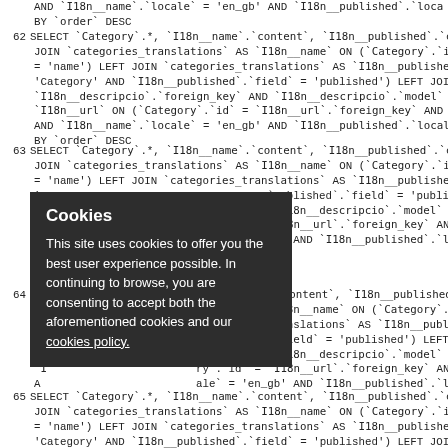AND `I18n__name`.`locale` = 'en_gb' AND `I18n__published`.`locale` = 'en_gb' AND `I18 BY `order` DESC
62 SELECT `Category`.*, `I18n__name`.`content`, `I18n__published`.`content`, `I18n__des JOIN `categories_translations` AS `I18n__name` ON (`Category`.`id` = `I18n__name`.`fo = 'name') LEFT JOIN `categories_translations` AS `I18n__published` ON (`Category`.`id `Category' AND `I18n__published`.`field` = 'published') LEFT JOIN `categories_translatio `I18n__descripcio`.`foreign_key` AND `I18n__descripcio`.`model` = 'Category' AND `I18n `I18n__url` ON (`Category`.`id` = `I18n__url`.`foreign_key` AND `I18n__url`.`model` = 'Ca AND `I18n__name`.`locale` = 'en_gb' AND `I18n__published`.`locale` = 'en_gb' AND `I18 BY `order` DESC
63 SELECT `Category`.*, `I18n__name`.`content`, `I18n__published`.`content`, `I18n__des JOIN `categories_translations` AS `I18n__name` ON (`Category`.`id` = `I18n__name`.`fo = 'name') LEFT JOIN `categories_translations` AS `I18n__published` ON (`Category`.`id 'C ... `published`.`field` = 'published') LEFT JOIN `categories_translatio `I ... gn_key` AND `I18n__descripcio`.`model` = 'Category' AND `I18n `I ... ry`.`id` = `I18n__url`.`foreign_key` AND `I18n__url`.`model` = 'Ca A ... `ale` = 'en_gb' AND `I18n__published`.`locale` = 'en_gb' AND `I18 B ...
64 SELECT `Category`.*, `I18n__name`.`content`, `I18n__published`.`content`, `I18n__des JOIN `categories_translations` AS `I18n__name` ON (`Category`.`id` = `I18n__name`.`fo ... `ategories_translations` AS `I18n__published` ON (`Category`.`id 'C ... `published`.`field` = 'published') LEFT JOIN `categories_translatio `I ... gn_key` AND `I18n__descripcio`.`model` = 'Category' AND `I18n `I ... ry`.`id` = `I18n__url`.`foreign_key` AND `I18n__url`.`model` = 'Ca A ... `ale` = 'en_gb' AND `I18n__published`.`locale` = 'en_gb' AND `I18 B ...
65 SELECT `Category`.*, `I18n__name`.`content`, `I18n__published`.`content`, `I18n__des JOIN `categories_translations` AS `I18n__name` ON (`Category`.`id` = `I18n__name`.`fo = 'name') LEFT JOIN `categories_translations` AS `I18n__published` ON (`Category`.`id 'Category' AND `I18n__published`.`field` = 'published') LEFT JOIN `categories_translatio `I18n__descripcio`.`foreign_key` AND `I18n__descripcio`.`model` = 'Category' AND `I18
Cookies
This site uses cookies to offer you the best user experience possible. In continuing to browse, you are consenting to accept both the aforementioned cookies and our cookies policy.